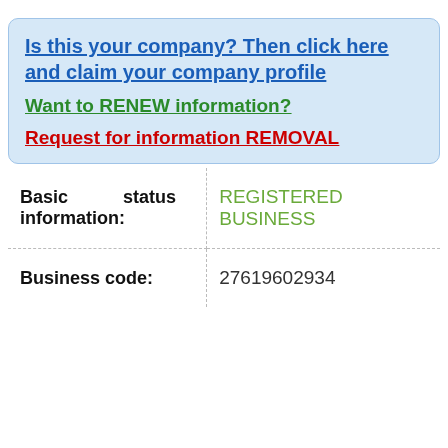Is this your company? Then click here and claim your company profile
Want to RENEW information?
Request for information REMOVAL
| Basic status information: | REGISTERED BUSINESS |
| Business code: | 27619602934 |